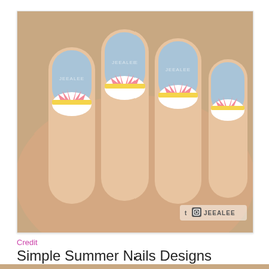[Figure (photo): Close-up photo of a hand with painted nails. Nails are painted light blue with white and pink sunburst/fan designs at the base and yellow stripe accents. Watermark text 'JEEALEE' visible on multiple nails. Social media handle 't [instagram icon] JEEALEE' in bottom right corner.]
Credit
Simple Summer Nails Designs